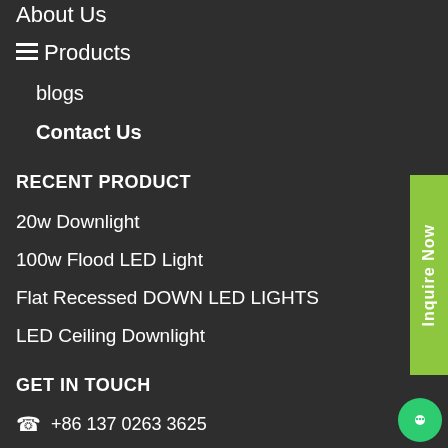About Us
Products
blogs
Contact Us
RECENT PRODUCT
20w Downlight
100w Flood LED Light
Flat Recessed DOWN LED LIGHTS
LED Ceiling Downlight
GET IN TOUCH
+86 137 0263 3625
+86 139 2323 6621
Guangdong China
https://www.liangxilights.com